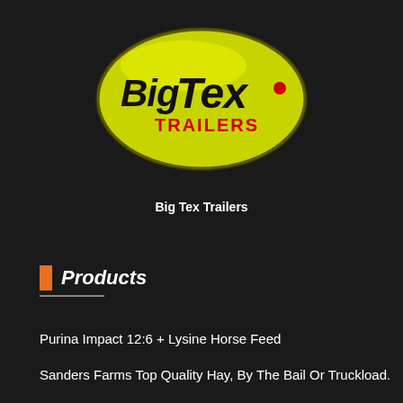[Figure (logo): Big Tex Trailers logo: yellow-green glossy oval with black bold text 'BigTex' and red text 'TRAILERS' with a red dot]
Big Tex Trailers
Products
Purina Impact 12:6 + Lysine Horse Feed
Sanders Farms Top Quality Hay, By The Bail Or Truckload.